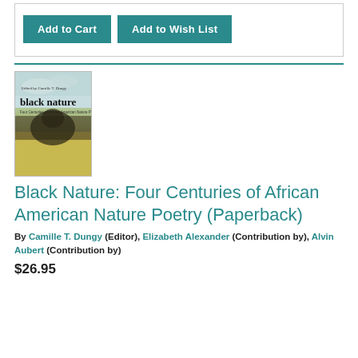[Figure (other): Box with Add to Cart and Add to Wish List buttons in teal/dark cyan color]
[Figure (photo): Book cover of 'black nature: Four Centuries of African American Nature Poetry' showing a nature/outdoor scene]
Black Nature: Four Centuries of African American Nature Poetry (Paperback)
By Camille T. Dungy (Editor), Elizabeth Alexander (Contribution by), Alvin Aubert (Contribution by)
$26.95